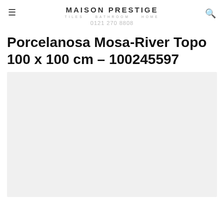MAISON PRESTIGE TILES BATHROOM HOME 0121 270 8808
Porcelanosa Mosa-River Topo 100 x 100 cm – 100245597
[Figure (photo): Product image placeholder — light gray rectangle representing the tile product photo]